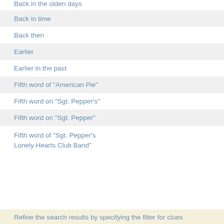Back in the olden days
Back in time
Back then
Earlier
Earlier in the past
Fifth word of "American Pie"
Fifth word on "Sgt. Pepper's"
Fifth word on "Sgt. Pepper"
Fifth word of "Sgt. Pepper's Lonely Hearts Club Band"
Refine the search results by specifying the filter for clues